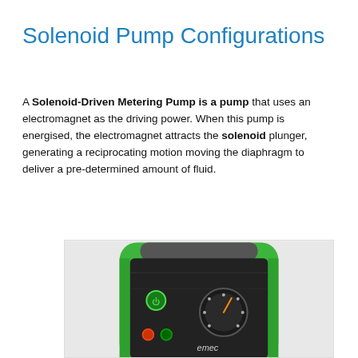Solenoid Pump Configurations
A Solenoid-Driven Metering Pump is a pump that uses an electromagnet as the driving power. When this pump is energised, the electromagnet attracts the solenoid plunger, generating a reciprocating motion moving the diaphragm to deliver a pre-determined amount of fluid.
[Figure (photo): Close-up photo of a green EMEC solenoid-driven metering pump showing the front control panel with a power button, adjustment knobs, and the EMEC brand logo on a dark background, housed in a bright green enclosure.]